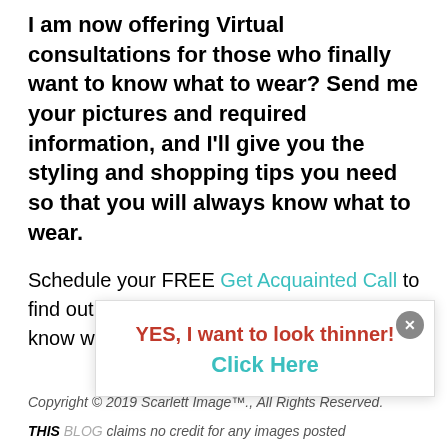I am now offering Virtual consultations for those who finally want to know what to wear? Send me your pictures and required information, and I'll give you the styling and shopping tips you need so that you will always know what to wear.
Schedule your FREE Get Acquainted Call to find out how I can show you how to always know what to wear.
[Figure (other): Popup overlay with close button (X), bold red text 'YES, I want to look thinner!' and teal text 'Click Here']
Copyright © 2019 Scarlett Image™., All Rights Reserved.
THIS BLOG claims no credit for any images posted